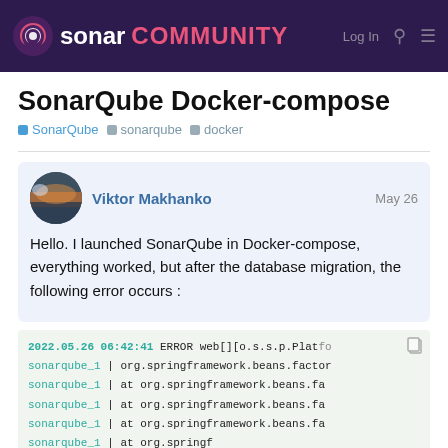sonar COMMUNITY
SonarQube Docker-compose
SonarQube  sonarqube  docker
Viktor Makhanko  May 26
Hello. I launched SonarQube in Docker-compose, everything worked, but after the database migration, the following error occurs :
2022.05.26 06:42:41 ERROR web[][o.s.s.p.Platform
sonarqube_1  | org.springframework.beans.factor
sonarqube_1  |   at org.springframework.beans.fa
sonarqube_1  |   at org.springframework.beans.fa
sonarqube_1  |   at org.springframework.beans.fa
sonarqube_1  |   at org.springf...
sonarqube_1  |   at org.springf...
sonarqube_1  |   at org.springf...
1 / 6